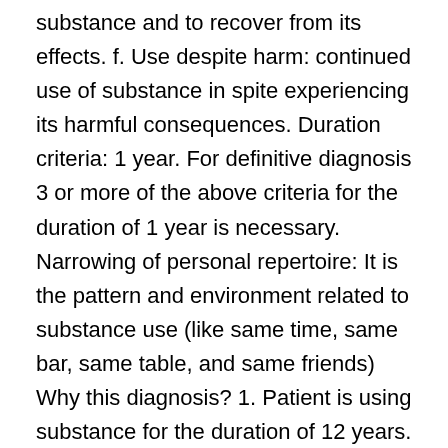substance and to recover from its effects. f. Use despite harm: continued use of substance in spite experiencing its harmful consequences. Duration criteria: 1 year. For definitive diagnosis 3 or more of the above criteria for the duration of 1 year is necessary. Narrowing of personal repertoire: It is the pattern and environment related to substance use (like same time, same bar, same table, and same friends) Why this diagnosis? 1. Patient is using substance for the duration of 12 years. 2. Craving for alcohol intake was seen in the form of strong desire to consume it and without consumption he experienced restlessness, insomnia, irritability, inability to concentrate on work. 3. He had tolerance as initially he started with beer which contains lesser percentage of alcohol; he kept increasing its quantity as he did not get the same effect, later shifted to whisky. 4. Withdrawal symptoms were seen